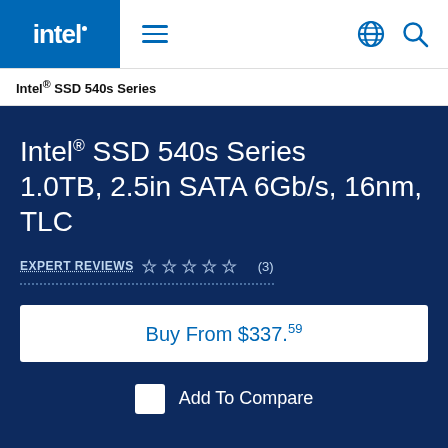Intel® SSD 540s Series
Intel® SSD 540s Series 1.0TB, 2.5in SATA 6Gb/s, 16nm, TLC
EXPERT REVIEWS ☆☆☆☆☆ (3)
Buy From $337.59
Add To Compare
Specifications | Reviews | Downloads